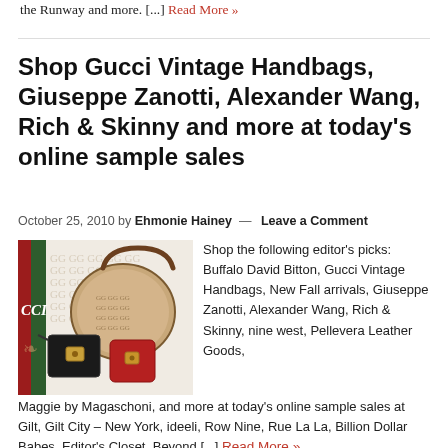the Runway and more. [...] Read More »
Shop Gucci Vintage Handbags, Giuseppe Zanotti, Alexander Wang, Rich & Skinny and more at today's online sample sales
October 25, 2010 by Ehmonie Hainey — Leave a Comment
[Figure (photo): Gucci handbags promotional image showing GG monogram hobo bag, black crossbody, and red handbag with Gucci logo stripe]
Shop the following editor's picks: Buffalo David Bitton, Gucci Vintage Handbags, New Fall arrivals, Giuseppe Zanotti, Alexander Wang, Rich & Skinny, nine west, Pellevera Leather Goods, Maggie by Magaschoni, and more at today's online sample sales at Gilt, Gilt City – New York, ideeli, Row Nine, Rue La La, Billion Dollar Babes, Editor's Closet, Beyond [...] Read More »